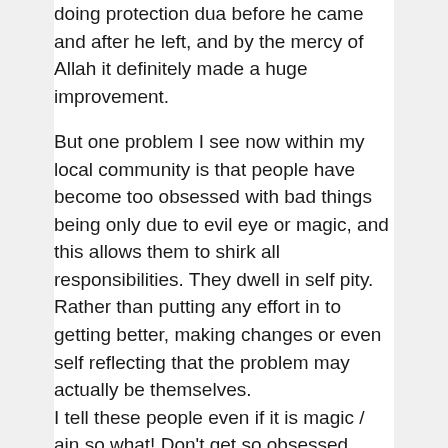doing protection dua before he came and after he left, and by the mercy of Allah it definitely made a huge improvement.
But one problem I see now within my local community is that people have become too obsessed with bad things being only due to evil eye or magic, and this allows them to shirk all responsibilities. They dwell in self pity. Rather than putting any effort in to getting better, making changes or even self reflecting that the problem may actually be themselves. I tell these people even if it is magic / ain so what! Don't get so obsessed